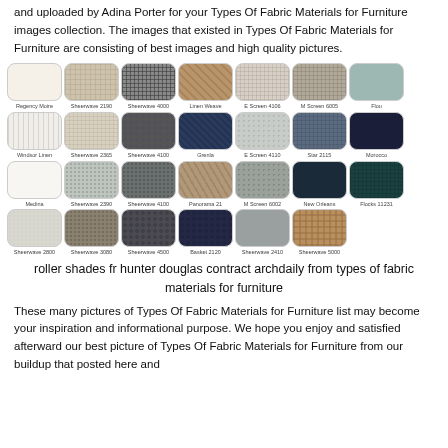and uploaded by Adina Porter for your Types Of Fabric Materials for Furniture images collection. The images that existed in Types Of Fabric Materials for Furniture are consisting of best images and high quality pictures.
[Figure (illustration): Grid of fabric swatches in 4 rows showing various fabric types for furniture including Regency Moire, Sheerwave 2190, Sheerwave 4000, Linen Weave, E Screen 4106, M Screen 6005, Flou, Windsor Linen, Sheerwave 2365, Sheerwave 4100, Grenla, E Screen 4110, Star 2115, Morocco, Medina, Sheerwave 2390, Sheerwave 4100, Panorama 21, M Screen 6002, New Orleans, Flocks 11231, Sheerwave 2800, Sheerwave 3080, Sheerwave 4500, Basket 2120, Sheerwave 2410, Sheerwave 5000]
roller shades fr hunter douglas contract archdaily from types of fabric materials for furniture
These many pictures of Types Of Fabric Materials for Furniture list may become your inspiration and informational purpose. We hope you enjoy and satisfied afterward our best picture of Types Of Fabric Materials for Furniture from our buildup that posted here and